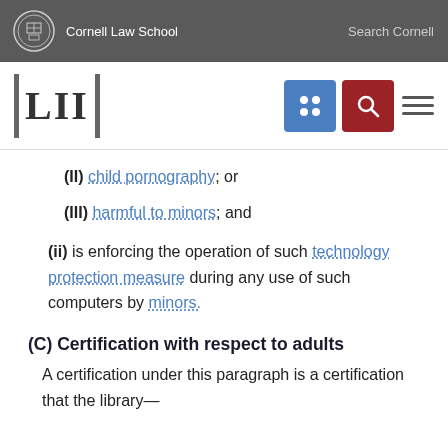Cornell Law School | Search Cornell
[Figure (logo): LII Legal Information Institute logo with Cornell Law School header]
(II) child pornography; or
(III) harmful to minors; and
(ii) is enforcing the operation of such technology protection measure during any use of such computers by minors.
(C) Certification with respect to adults
A certification under this paragraph is a certification that the library—